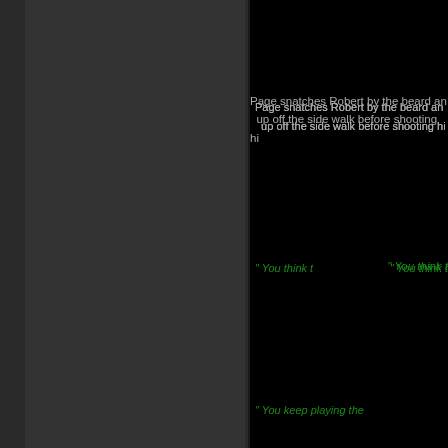[Figure (illustration): Dark two-panel layout: left dark gray panel occupying left half, right black panel with text content]
Page snatches Robert by the beard and lifts him up off the side walk before shooting hi
" You think t
Page pulls Robert up to a vertical base and deliver walk a Deadly Force Spinbuster! Chri
" You keep playing the
Chris shifts his eyes just off camera. H bike before smashing Robert's bike w